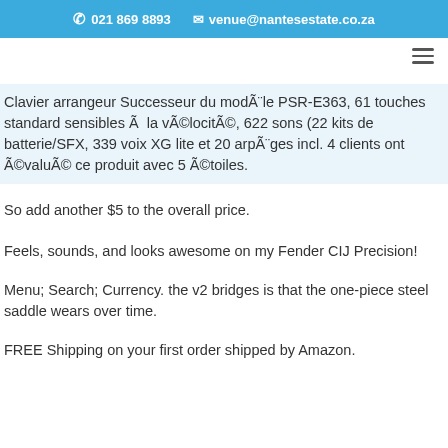021 869 8893   venue@nantesestate.co.za
Clavier arrangeur Successeur du modÃ¨le PSR-E363, 61 touches standard sensibles Ã  la vÃ©locitÃ©, 622 sons (22 kits de batterie/SFX, 339 voix XG lite et 20 arpÃ¨ges incl. 4 clients ont Ã©valuÃ© ce produit avec 5 Ã©toiles.
So add another $5 to the overall price.
Feels, sounds, and looks awesome on my Fender CIJ Precision!
Menu; Search; Currency. the v2 bridges is that the one-piece steel saddle wears over time.
FREE Shipping on your first order shipped by Amazon.